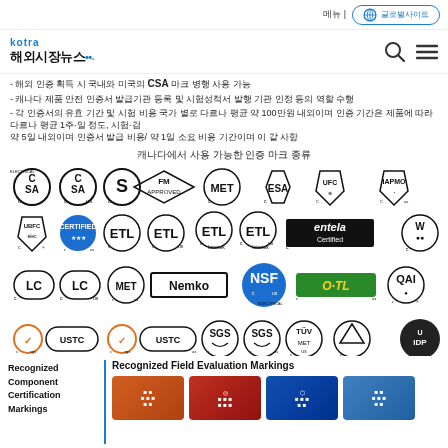kotra 해외시장뉴스
- 해외 인증 획득 시 국내와 미국의 CSA 마크 병행 사용 가능
- 캐나다 제품 안전 인증서 발급기관 등록 및 시험성적서 발행 기관 인정 등의 역할 수행
- 각 인증서의 유효 기간 및 시험 비용 국가 별로 다르나 평균 약 100만원 내외이며 인증 기간은 제품에 따라 다르나 평균 1주·일 정도, 시험·검 약 5일 내외이며 인증서 발급 비용/ 약 1일 소요 비용 기간이며 이 같 사항
캐나다에서 사용 가능한 인증 마크 종류
[Figure (illustration): Grid of Canadian certification marks including CSA, FM Approved, MET, ESA, UBFC, IAPMO, ETL Intertek, entela, LC, Nemko, NSF, O-TL, QAI, PS Certified, USTC, SGS, TUV, TDP, UL, QAI logos]
Recognized Component Certification Markings
Recognized Field Evaluation Markings
[Figure (illustration): Four field evaluation marking cards: orange, red, blue, light blue]